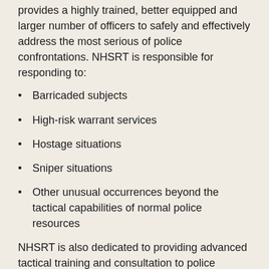provides a highly trained, better equipped and larger number of officers to safely and effectively address the most serious of police confrontations. NHSRT is responsible for responding to:
Barricaded subjects
High-risk warrant services
Hostage situations
Sniper situations
Other unusual occurrences beyond the tactical capabilities of normal police resources
NHSRT is also dedicated to providing advanced tactical training and consultation to police departments seeking the knowledge and skill sets that SRT members can provide.
Operations
The North Hills SRT team operates under an Administrative Oversight Committee, which governs the unit's organization